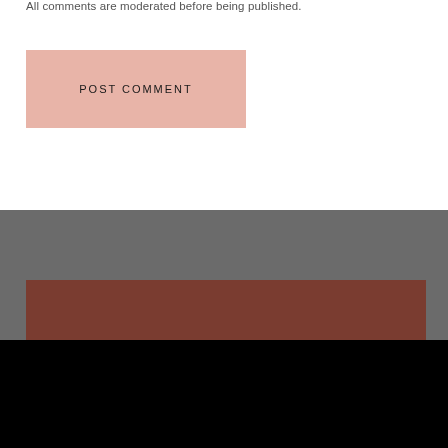All comments are moderated before being published.
POST COMMENT
[Figure (screenshot): Gray footer background section with a brown/dark red rectangle overlay]
Our website uses cookies to ensure you get the best experience. Learn More
OK